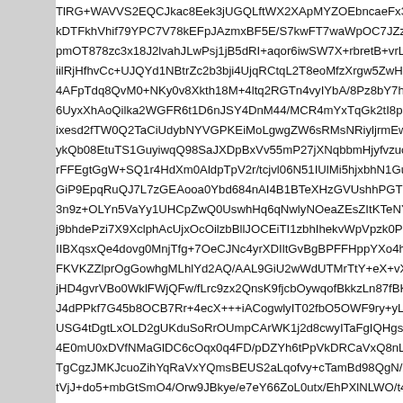TlRG+WAVVS2EQCJkac8Eek3jUGQLftWX2XApMYZOEbncaeFx3a
kDTFkhVhif79YPC7V78kEFpJAzmxBF5E/S7kwFT7waWpOC7JZzz
pmOT878zc3x18J2lvahJLwPsj1jB5dRI+aqor6iwSW7X+rbretB+vrLG
iilRjHfhvCc+UJQYd1NBtrZc2b3bji4UjqRCtqL2T8eoMfzXrgw5ZwHrh
4AFpTdq8QvM0+NKy0v8Xkth18M+4ltq2RGTn4vyIYbA/8Pz8bY7hZz
6UyxXhAoQilka2WGFR6t1D6nJSY4DnM44/MCR4mYxTqGk2tI8pLF
ixesd2fTW0Q2TaCiUdybNYVGPKEiMoLgwgZW6sRMsNRiyljrmEwS
ykQb08EtuTS1GuyiwqQ98SaJXDpBxVv55mP27jXNqbbmHjyfvzuok
rFFEgtGgW+SQ1r4HdXm0AldpTpV2r/tcjvl06N51IUlMi5hjxbhN1GuIl
GiP9EpqRuQJ7L7zGEAooa0Ybd684nAI4B1BTeXHzGVUshhPGTNt
3n9z+OLYn5VaYy1UHCpZwQ0UswhHq6qNwlyNOeaZEsZItKTeNYT
j9bhdePzi7X9XclphAcUjxOcOilzbBllJOCEiTI1zbhIhekvWpVpzk0Pm
IIBXqsxQe4dovg0MnjTfg+7OeCJNc4yrXDIltGvBgBPFFHppYXo4h2c
FKVKZZlprOgGowhgMLhlYd2AQ/AAL9GiU2wWdUTMrTtY+eX+vXX
jHD4gvrVBo0WklFWjQFw/fLrc9zx2QnsK9fjcbOywqofBkkzLn87fBKy
J4dPPkf7G45b8OCB7Rr+4ecX+++iACogwlyIT02fbO5OWF9ry+yLm
USG4tDgtLxOLD2gUKduSoRrOUmpCArWK1j2d8cwyITaFgIQHgsm
4E0mU0xDVfNMaGlDC6cOqx0q4FD/pDZYh6tPpVkDRCaVxQ8nL9e
TgCgzJMKJcuoZihYqRaVxYQmsBEUS2aLqofvy+cTamBd98QgN/XY
tVjJ+do5+mbGtSmO4/Orw9JBkye/e7eY66ZoL0utx/EhPXlNLWO/t4H
XfqrPAD0FsMl28AxaCgQZJNfjGHemSsDYEoIX2aAfQI+RJfGUImaC
ELriAfi3dtw/kLbfb192tfxVLrd6BrXCtxDWO1pdiZ/M+dHYrsaXbX+enm